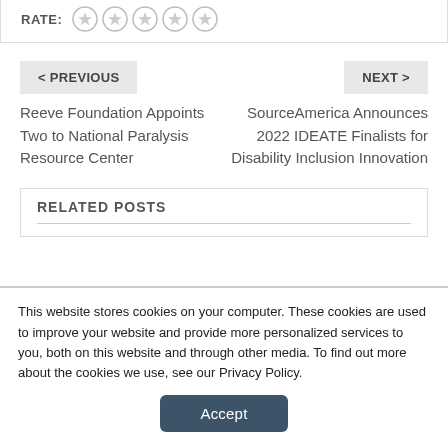RATE: ☆☆☆☆☆
< PREVIOUS
NEXT >
Reeve Foundation Appoints Two to National Paralysis Resource Center
SourceAmerica Announces 2022 IDEATE Finalists for Disability Inclusion Innovation
RELATED POSTS
This website stores cookies on your computer. These cookies are used to improve your website and provide more personalized services to you, both on this website and through other media. To find out more about the cookies we use, see our Privacy Policy.
Accept